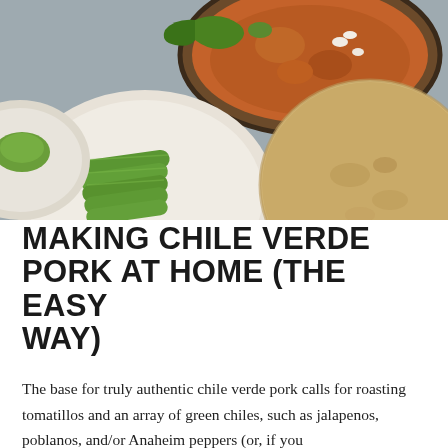[Figure (photo): Food photography showing bowls with chile verde pork stew, sliced avocado on a white ceramic plate, and a tortilla, arranged on a gray surface]
MAKING CHILE VERDE PORK AT HOME (THE EASY WAY)
The base for truly authentic chile verde pork calls for roasting tomatillos and an array of green chiles, such as jalapenos, poblanos, and/or Anaheim peppers (or, if you